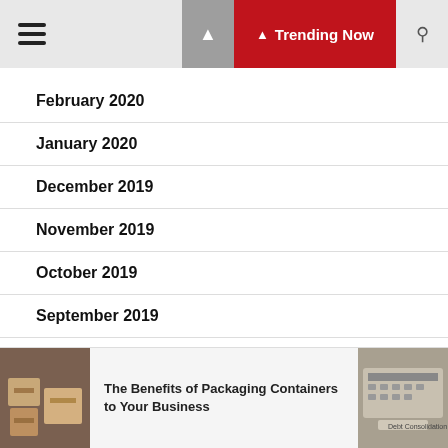☰ Trending Now
February 2020
January 2020
December 2019
November 2019
October 2019
September 2019
August 2019
The Benefits of Packaging Containers to Your Business